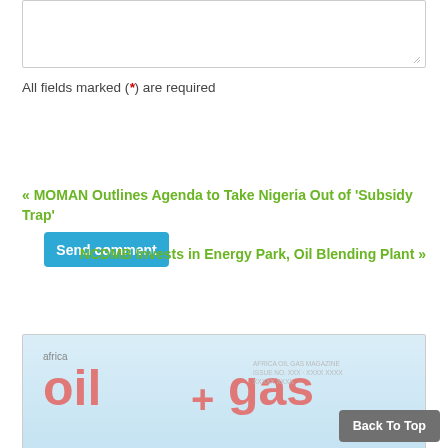All fields marked (*) are required
Send comment
« MOMAN Outlines Agenda to Take Nigeria Out of 'Subsidy Trap'
NCDMB Invests in Energy Park, Oil Blending Plant »
Search
[Figure (other): Africa Oil + Gas magazine cover thumbnail showing 'africa oil + gas' text in red on light blue background]